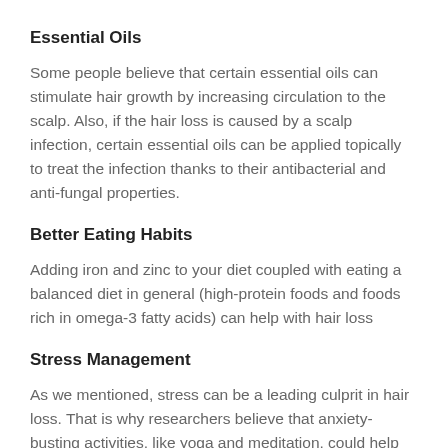Essential Oils
Some people believe that certain essential oils can stimulate hair growth by increasing circulation to the scalp. Also, if the hair loss is caused by a scalp infection, certain essential oils can be applied topically to treat the infection thanks to their antibacterial and anti-fungal properties.
Better Eating Habits
Adding iron and zinc to your diet coupled with eating a balanced diet in general (high-protein foods and foods rich in omega-3 fatty acids) can help with hair loss
Stress Management
As we mentioned, stress can be a leading culprit in hair loss. That is why researchers believe that anxiety-busting activities, like yoga and meditation, could help promote